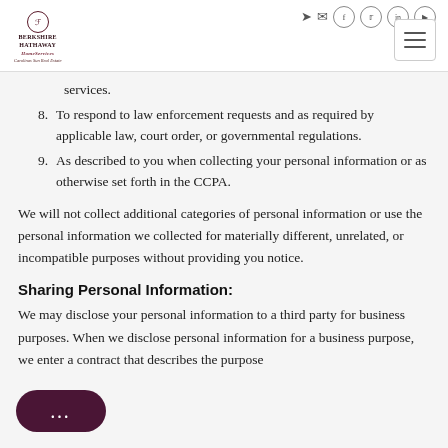Berkshire Hathaway HomeServices Carolinas Sun Real Estate — header with social icons and hamburger menu
services.
8. To respond to law enforcement requests and as required by applicable law, court order, or governmental regulations.
9. As described to you when collecting your personal information or as otherwise set forth in the CCPA.
We will not collect additional categories of personal information or use the personal information we collected for materially different, unrelated, or incompatible purposes without providing you notice.
Sharing Personal Information:
We may disclose your personal information to a third party for business purposes. When we disclose personal information for a business purpose, we enter a contract that describes the purpose